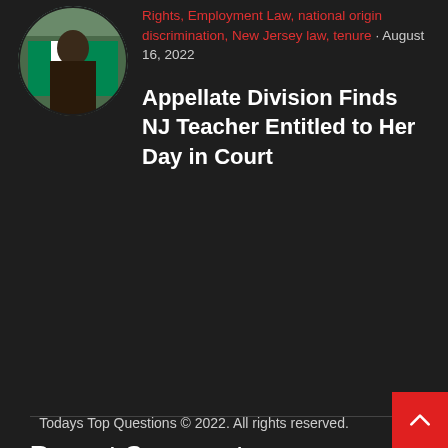[Figure (photo): Circular avatar photo of a person holding a green and white flag (Nigerian flag) at what appears to be an outdoor event or protest.]
Rights, Employment Law, national origin discrimination, New Jersey law, tenure · August 16, 2022
Appellate Division Finds NJ Teacher Entitled to Her Day in Court
Recent Comments
Todays Top Questions © 2022. All rights reserved.